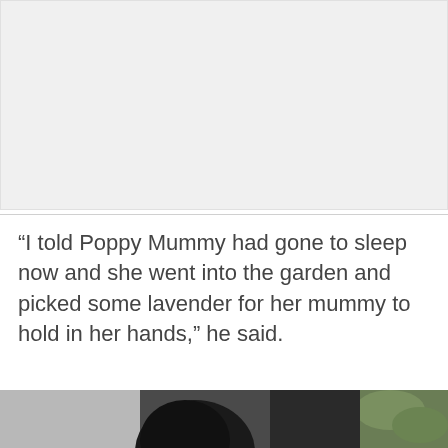[Figure (photo): Light grey placeholder rectangle representing a photo that occupies the top portion of the page]
“I told Poppy Mummy had gone to sleep now and she went into the garden and picked some lavender for her mummy to hold in her hands,” he said.
[Figure (photo): Partial photo at bottom of page showing the back of a person's head with dark hair and foliage on the right side]